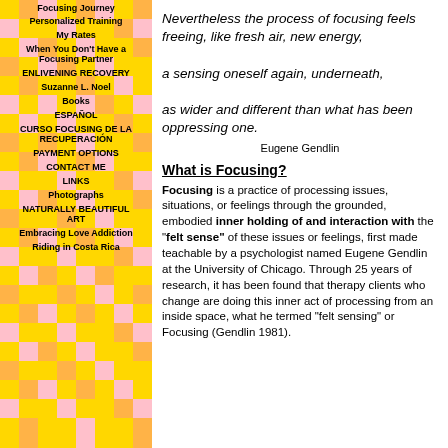Focusing Journey
Personalized Training
My Rates
When You Don't Have a Focusing Partner
ENLIVENING RECOVERY
Suzanne L. Noel
Books
ESPAÑOL
CURSO FOCUSING DE LA RECUPERACIÓN
PAYMENT OPTIONS
CONTACT ME
LINKS
Photographs
NATURALLY BEAUTIFUL ART
Embracing Love Addiction
Riding in Costa Rica
Nevertheless the process of focusing feels freeing, like fresh air, new energy, a sensing oneself again, underneath, as wider and different than what has been oppressing one.
Eugene Gendlin
What is Focusing?
Focusing is a practice of processing issues, situations, or feelings through the grounded, embodied inner holding of and interaction with the "felt sense" of these issues or feelings, first made teachable by a psychologist named Eugene Gendlin at the University of Chicago. Through 25 years of research, it has been found that therapy clients who change are doing this inner act of processing from an inside space, what he termed "felt sensing" or Focusing (Gendlin 1981).